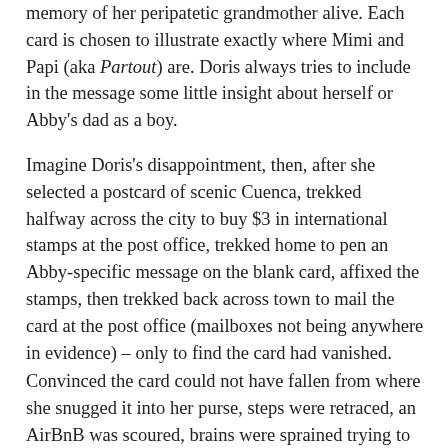memory of her peripatetic grandmother alive. Each card is chosen to illustrate exactly where Mimi and Papi (aka Partout) are. Doris always tries to include in the message some little insight about herself or Abby's dad as a boy.
Imagine Doris's disappointment, then, after she selected a postcard of scenic Cuenca, trekked halfway across the city to buy $3 in international stamps at the post office, trekked home to pen an Abby-specific message on the blank card, affixed the stamps, then trekked back across town to mail the card at the post office (mailboxes not being anywhere in evidence) – only to find the card had vanished.
Convinced the card could not have fallen from where she snugged it into her purse, steps were retraced, an AirBnB was scoured, brains were sprained trying to otherwise account for the disappearance but ... nope. Then along came a Since Doris had taken photos of